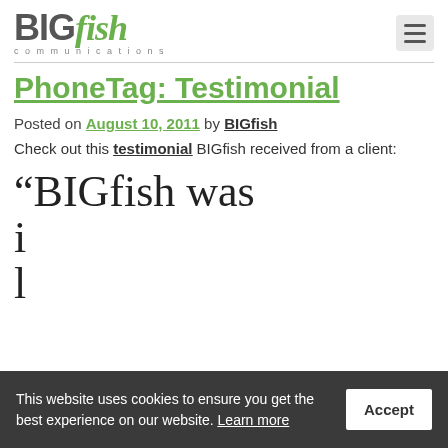BIGfish communications
PhoneTag: Testimonial
Posted on August 10, 2011 by BIGfish
Check out this testimonial BIGfish received from a client:
“BIGfish was i... l...transforming our product
This website uses cookies to ensure you get the best experience on our website. Learn more